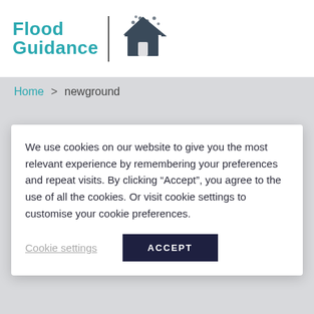Flood Guidance
Home > newground
We use cookies on our website to give you the most relevant experience by remembering your preferences and repeat visits. By clicking “Accept”, you agree to the use of all the cookies. Or visit cookie settings to customise your cookie preferences.
Cookie settings | ACCEPT